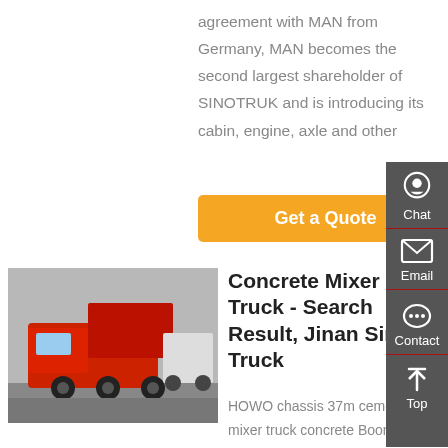agreement with MAN from Germany, MAN becomes the second largest shareholder of SINOTRUK and is introducing its cabin, engine, axle and other
[Figure (other): Orange 'Get a Quote' button]
[Figure (photo): Red HOWO dump truck parked outdoors]
Concrete Mixer Truck - Search Result, Jinan Sino Truck
HOWO chassis 37m cement mixer truck concrete Boom truck mounted concrete mixer pump